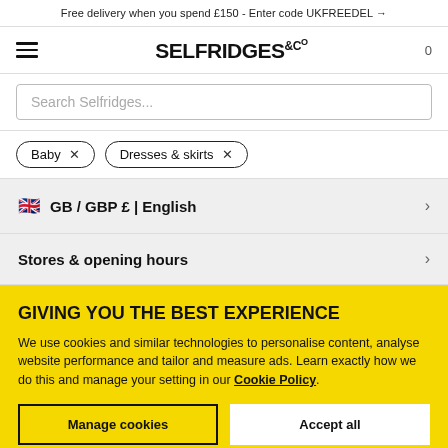Free delivery when you spend £150 - Enter code UKFREEDEL →
[Figure (logo): Selfridges & Co logo with hamburger menu and cart icon]
Search Selfridges...
Baby ×
Dresses & skirts ×
🇬🇧 GB / GBP £ | English
Stores & opening hours
GIVING YOU THE BEST EXPERIENCE
We use cookies and similar technologies to personalise content, analyse website performance and tailor and measure ads. Learn exactly how we do this and manage your setting in our Cookie Policy.
Manage cookies
Accept all